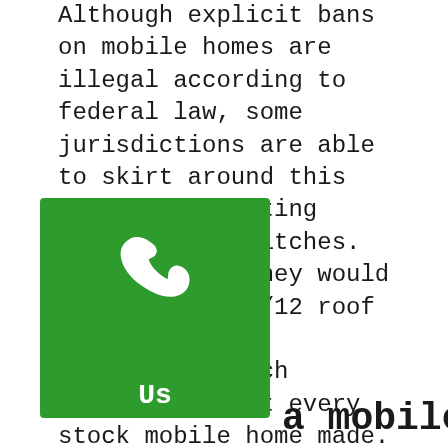Although explicit bans on mobile homes are illegal according to federal law, some jurisdictions are able to skirt around this law by prohibiting certain roof pitches. For example, they would simply ban a 3/12 roof pitch in their community, which includes almost every stock mobile home made. Thankfully we offer residential style roof pitches not only for modular homes, but for mobile homes as well. If youre having trouble with your local community we can easily build a home that will be in line with the standard they have set for the area. And if you purchase a modular home, since it is actually built to local and state code they will have no reason to prevent you from saving 10s of on your new home. Check out our mes to learn more!
[Figure (other): Green phone/contact widget with white phone icon and 'Us' label]
a mobile home built